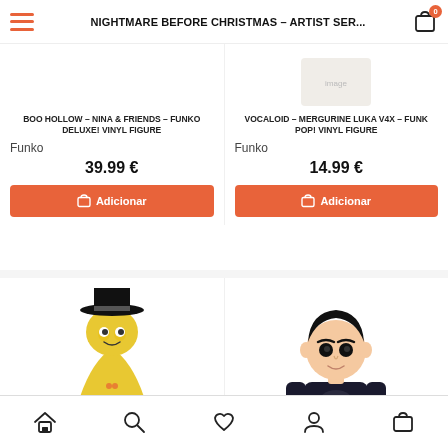NIGHTMARE BEFORE CHRISTMAS – ARTIST SER...
BOO HOLLOW – NINA & FRIENDS – FUNKO DELUXE! VINYL FIGURE
Funko
39.99 €
VOCALOID – MERGURINE LUKA V4X – FUNK POP! VINYL FIGURE
Funko
14.99 €
[Figure (screenshot): Funko figure product image (bottom left) - Mayor of Halloween Town character with top hat]
[Figure (screenshot): Funko figure product image (bottom right) - Superman / superhero character in black suit]
Home | Search | Wishlist | Account | Cart